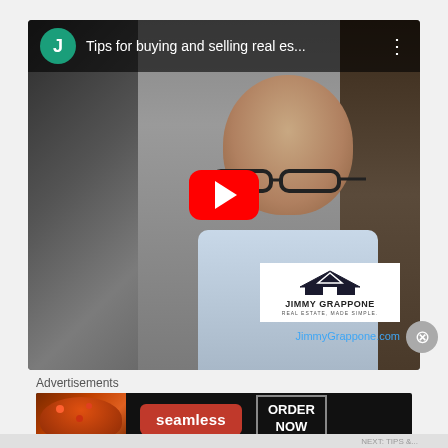[Figure (screenshot): YouTube video thumbnail showing a bald man with glasses wearing a light blue shirt. The video title reads 'Tips for buying and selling real es...' with a channel avatar 'J' in teal. A red YouTube play button is overlaid in the center. A Jimmy Grappone Real Estate logo and JimmyGrappone.com URL appear in the lower right of the video.]
Advertisements
[Figure (screenshot): Seamless food delivery advertisement banner showing pizza on the left, a red 'seamless' button in the center, and an 'ORDER NOW' button on the right, all on a dark background.]